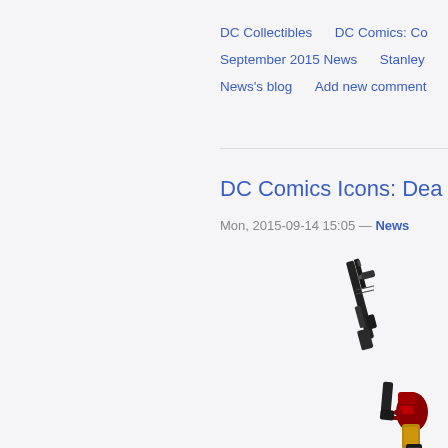DC Collectibles   DC Comics: Co   September 2015 News   Stanley   News's blog   Add new comment
DC Comics Icons: Dea
Mon, 2015-09-14 15:05 — News
[Figure (photo): DC Comics Icons action figure of Deathstroke holding a large rifle/sniper weapon, shown from approximately chest-up, wearing red and black armor]